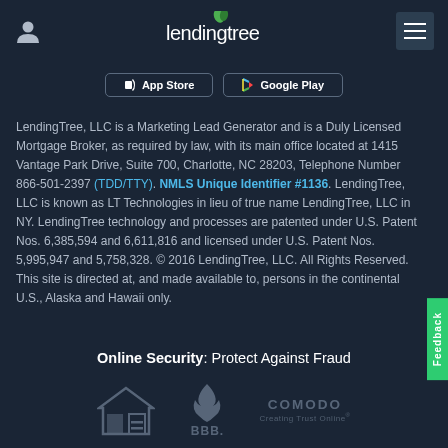lendingtree (logo with navigation icons)
[Figure (screenshot): App Store and Google Play download buttons]
LendingTree, LLC is a Marketing Lead Generator and is a Duly Licensed Mortgage Broker, as required by law, with its main office located at 1415 Vantage Park Drive, Suite 700, Charlotte, NC 28203, Telephone Number 866-501-2397 (TDD/TTY). NMLS Unique Identifier #1136. LendingTree, LLC is known as LT Technologies in lieu of true name LendingTree, LLC in NY. LendingTree technology and processes are patented under U.S. Patent Nos. 6,385,594 and 6,611,816 and licensed under U.S. Patent Nos. 5,995,947 and 5,758,328. © 2016 LendingTree, LLC. All Rights Reserved. This site is directed at, and made available to, persons in the continental U.S., Alaska and Hawaii only.
Online Security: Protect Against Fraud
[Figure (logo): Equal Housing Opportunity logo, BBB logo, Comodo Creating Trust Online logo]